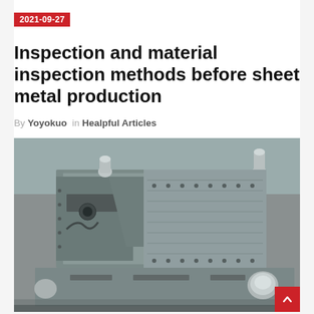2021-09-27
Inspection and material inspection methods before sheet metal production
By Yoyokuo in Healpful Articles
[Figure (photo): Sheet metal production tooling/die set on a metal surface, showing precision machined metal mold components with guide pins, slots, and mounting holes.]